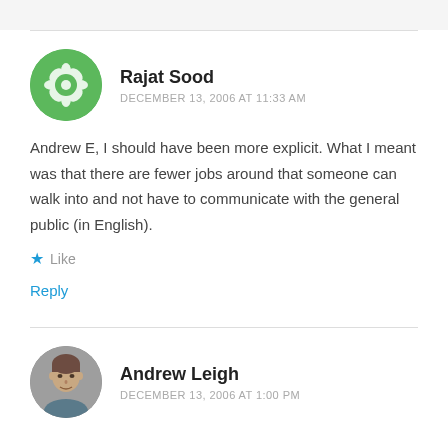[Figure (illustration): Green circular avatar with geometric flower/snowflake pattern for user Rajat Sood]
Rajat Sood
DECEMBER 13, 2006 AT 11:33 AM
Andrew E, I should have been more explicit. What I meant was that there are fewer jobs around that someone can walk into and not have to communicate with the general public (in English).
★ Like
Reply
[Figure (photo): Circular photo avatar of Andrew Leigh, a man]
Andrew Leigh
DECEMBER 13, 2006 AT 1:00 PM